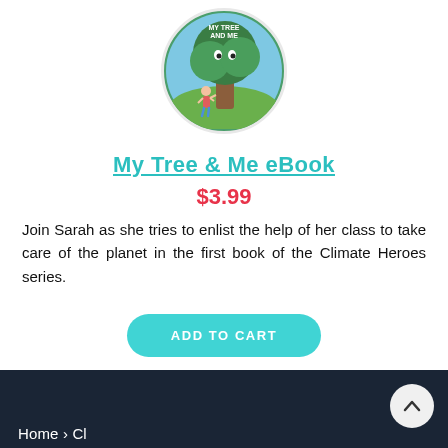[Figure (illustration): Circular book cover illustration for 'My Tree And Me' showing a child hugging a large tree with a face, against a blue sky and green grass background]
My Tree & Me eBook
$3.99
Join Sarah as she tries to enlist the help of her class to take care of the planet in the first book of the Climate Heroes series.
ADD TO CART
Home › Cl...